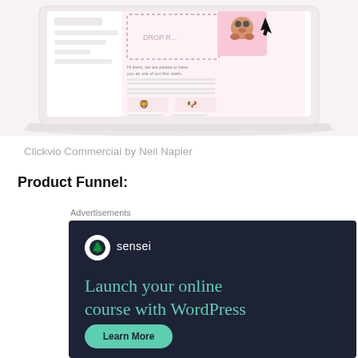[Figure (screenshot): A laptop mockup showing a web application interface with a dog illustration, a 'DROP' upload area, some welcome text, and two pet emoji icons (heart-eyes cat and dog face) on a pink/white background]
Clickvio Commercial by Neil Napier
Product Funnel:
Advertisements
[Figure (screenshot): Advertisement for Sensei plugin: dark navy background with Sensei logo (white circle with tree icon), tagline 'Launch your online course with WordPress' in teal/mint color, and a 'Learn More' teal button at the bottom]